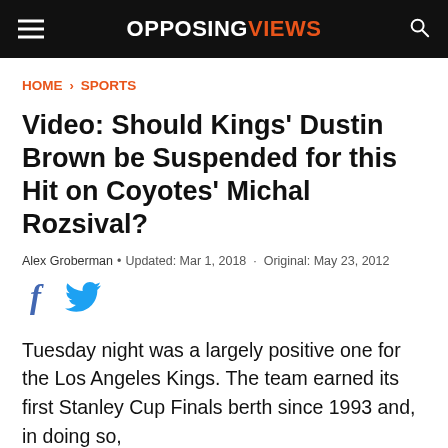OPPOSINGVIEWS
HOME › SPORTS
Video: Should Kings' Dustin Brown be Suspended for this Hit on Coyotes' Michal Rozsival?
Alex Groberman • Updated: Mar 1, 2018 · Original: May 23, 2012
[Figure (other): Facebook and Twitter social share icons]
Tuesday night was a largely positive one for the Los Angeles Kings. The team earned its first Stanley Cup Finals berth since 1993 and, in doing so,